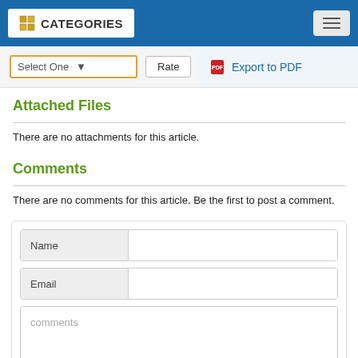CATEGORIES
Select One   Rate   Export to PDF
Attached Files
There are no attachments for this article.
Comments
There are no comments for this article. Be the first to post a comment.
Name
Email
comments